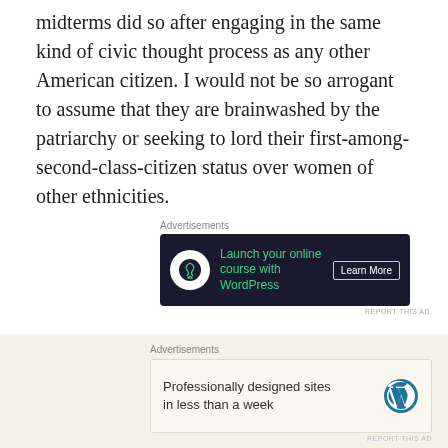midterms did so after engaging in the same kind of civic thought process as any other American citizen. I would not be so arrogant to assume that they are brainwashed by the patriarchy or seeking to lord their first-among-second-class-citizen status over women of other ethnicities.
[Figure (other): Advertisement banner with dark background: 'Launch your online course with WordPress' with Learn More button and bonsai tree icon]
Moreover, haranguing and abusing women for failing to vote the “correct” way its about as strategically sensible as a car salesman reacting to a wavering customer by
[Figure (other): Advertisement banner with light beige background: 'Professionally designed sites in less than a week' with WordPress logo]